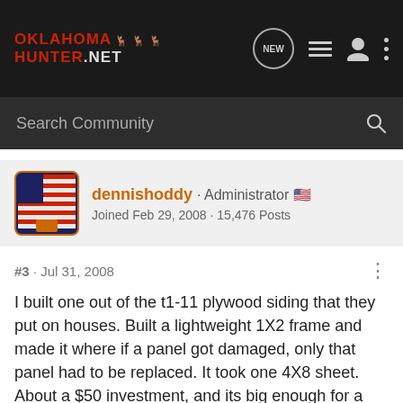OklahomaHunter.NET
Search Community
dennishoddy · Administrator
Joined Feb 29, 2008 · 15,476 Posts
#3 · Jul 31, 2008
I built one out of the t1-11 plywood siding that they put on houses. Built a lightweight 1X2 frame and made it where if a panel got damaged, only that panel had to be replaced. It took one 4X8 sheet. About a $50 investment, and its big enough for a dog to sit on his haunches, with his head up to look out. I don't care for the short ones where they can't even get up and stretch.
"The strongest reason for the people to retain the right to keep and...